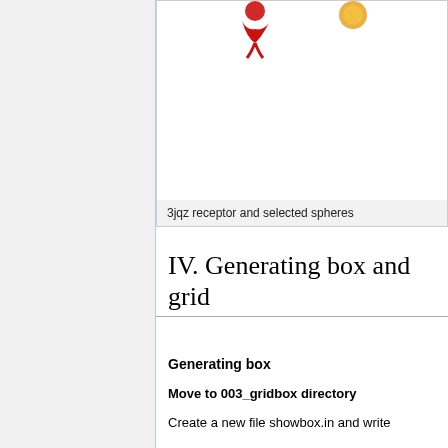[Figure (illustration): Top portion of a figure showing 3jqz receptor and selected spheres, with red and gold/yellow decorative icons visible at top]
3jqz receptor and selected spheres
IV. Generating box and grid
Generating box
Move to 003_gridbox directory
Create a new file showbox.in and write